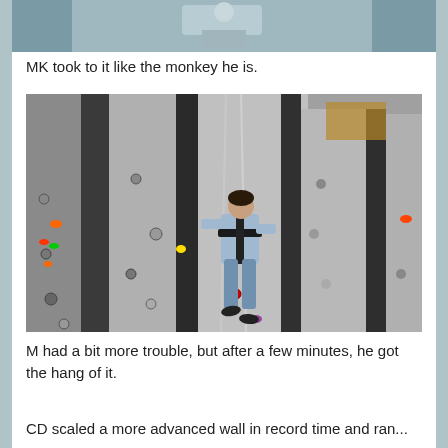[Figure (photo): Partial view of a climbing wall or indoor structure, cropped at top of page]
MK took to it like the monkey he is.
[Figure (photo): Person wearing a harness climbing an indoor rock climbing wall with colorful holds]
M had a bit more trouble, but after a few minutes, he got the hang of it.
CD scaled a more advanced wall in record time and ran...